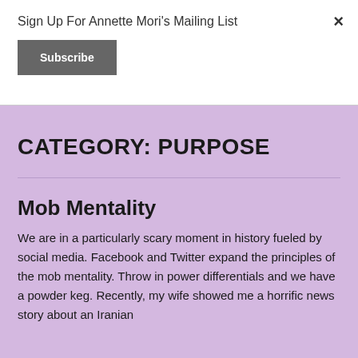Sign Up For Annette Mori's Mailing List
Subscribe
×
CATEGORY: PURPOSE
Mob Mentality
We are in a particularly scary moment in history fueled by social media. Facebook and Twitter expand the principles of the mob mentality. Throw in power differentials and we have a powder keg. Recently, my wife showed me a horrific news story about an Iranian